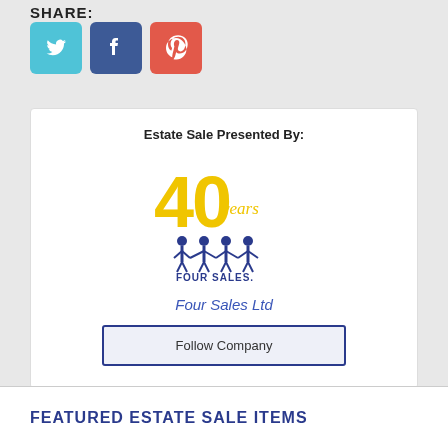SHARE:
[Figure (logo): Social media share icons: Twitter (blue), Facebook (dark blue), Pinterest (red)]
Estate Sale Presented By:
[Figure (logo): Four Sales Ltd logo - 40 years, with four female figures holding hands and FOUR SALES text below]
Four Sales Ltd
Follow Company
FEATURED ESTATE SALE ITEMS